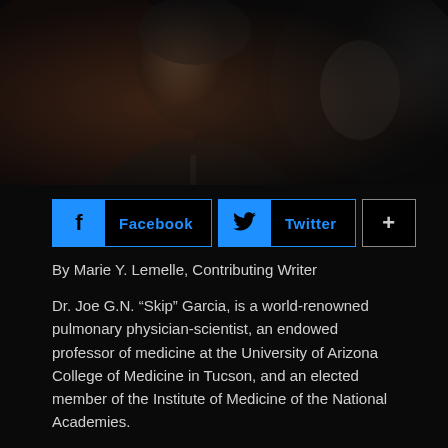[Figure (photo): Black and white/dark toned photo of an older man with grey hair, wearing a suit, looking upward, gesturing with his hand near a microphone]
[Figure (infographic): Social sharing buttons row: Facebook button (blue icon + label), Twitter button (blue bird icon + label), and a plus (+) button]
By Marie Y. Lemelle, Contributing Writer
Dr. Joe G.N. “Skip” Garcia, is a world-renowned pulmonary physician-scientist, an endowed professor of medicine at the University of Arizona College of Medicine in Tucson, and an elected member of the Institute of Medicine of the National Academies.
Garcia says, “Trauma, sensis and bacterial and viral